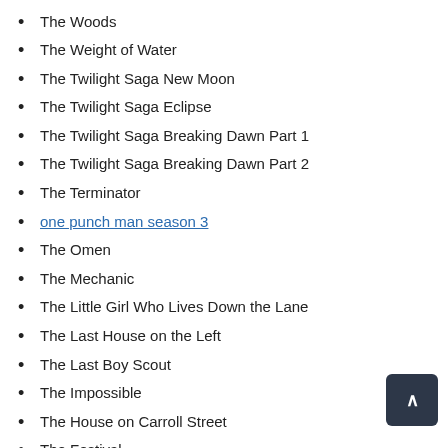The Woods
The Weight of Water
The Twilight Saga New Moon
The Twilight Saga Eclipse
The Twilight Saga Breaking Dawn Part 1
The Twilight Saga Breaking Dawn Part 2
The Terminator
one punch man season 3
The Omen
The Mechanic
The Little Girl Who Lives Down the Lane
The Last House on the Left
The Last Boy Scout
The Impossible
The House on Carroll Street
The Festival
The End of Violence